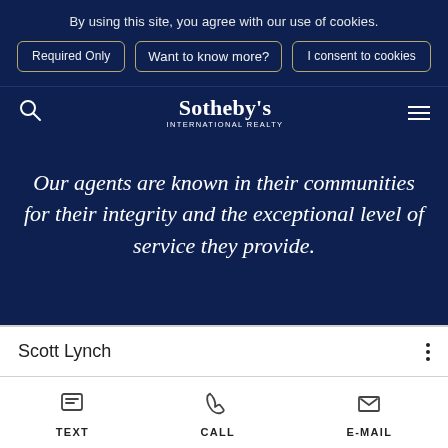By using this site, you agree with our use of cookies.
Required Only | Want to know more? | I consent to cookies
Sotheby's INTERNATIONAL REALTY
Our agents are known in their communities for their integrity and the exceptional level of service they provide.
Scott Lynch
TEXT   CALL   E-MAIL